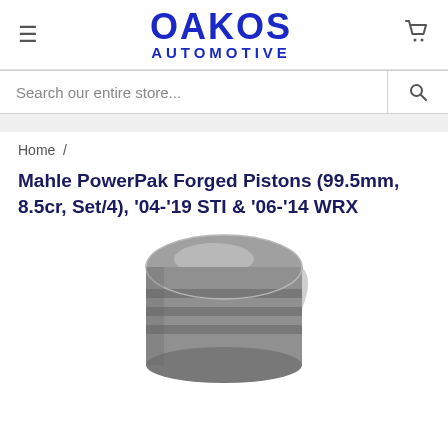OAKOS AUTOMOTIVE
Search our entire store...
Home /
Mahle PowerPak Forged Pistons (99.5mm, 8.5cr, Set/4), '04-'19 STI & '06-'14 WRX
[Figure (photo): Photo of a forged aluminum piston viewed from the top-front angle, showing the piston crown and ring grooves, in a metallic gray finish.]